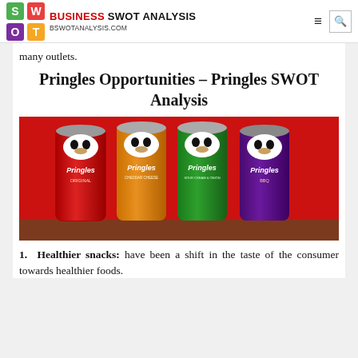BUSINESS SWOT ANALYSIS — bswotanalysis.com
many outlets.
Pringles Opportunities – Pringles SWOT Analysis
[Figure (photo): Four Pringles cans (Original red, Cheddar Cheese orange, Sour Cream & Onion green, BBQ purple) on a brown shelf against a red background]
1. Healthier snacks: have been a shift in the taste of the consumer towards healthier foods.